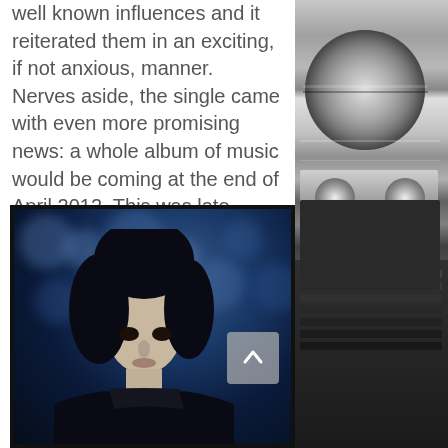well known influences and it reiterated them in an exciting, if not anxious, manner.  Nerves aside, the single came with even more promising news: a whole album of music would be coming at the end of April 2012. This was late January.  Barely any time to prepare!
[Figure (photo): Blue-tinted photograph of a person (likely a musician with dark hair) looking downward, with bokeh background suggesting foliage or lights. Bottom portion of the image visible.]
[Figure (photo): Black and white photograph of music recording equipment, appearing to be a reel-to-reel tape recorder, visible on the right side of the page.]